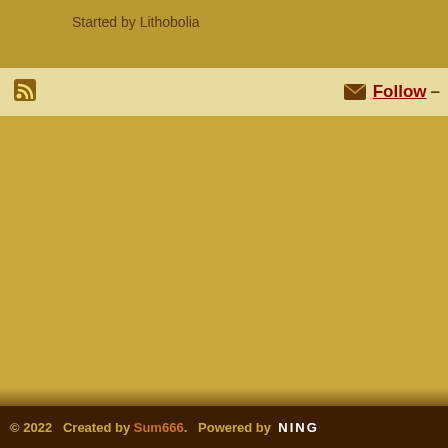Started by Lithobolia
Follow –
© 2022   Created by Sum666.   Powered by  NING